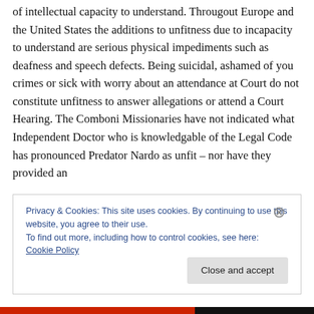of intellectual capacity to understand. Througout Europe and the United States the additions to unfitness due to incapacity to understand are serious physical impediments such as deafness and speech defects. Being suicidal, ashamed of you crimes or sick with worry about an attendance at Court do not constitute unfitness to answer allegations or attend a Court Hearing. The Comboni Missionaries have not indicated what Independent Doctor who is knowledgable of the Legal Code has pronounced Predator Nardo as unfit – nor have they provided an
Privacy & Cookies: This site uses cookies. By continuing to use this website, you agree to their use.
To find out more, including how to control cookies, see here: Cookie Policy
Close and accept